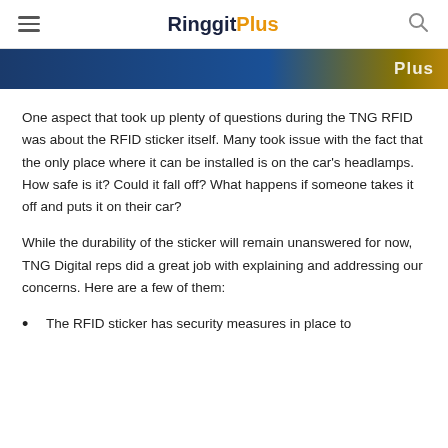RinggitPlus
[Figure (photo): Banner image with blue gradient background and text 'Plus' visible on the right side]
One aspect that took up plenty of questions during the TNG RFID was about the RFID sticker itself. Many took issue with the fact that the only place where it can be installed is on the car's headlamps. How safe is it? Could it fall off? What happens if someone takes it off and puts it on their car?
While the durability of the sticker will remain unanswered for now, TNG Digital reps did a great job with explaining and addressing our concerns. Here are a few of them:
The RFID sticker has security measures in place to